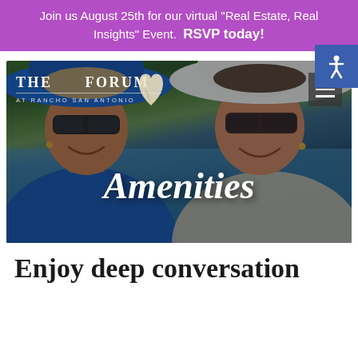Join us August 25th for our virtual "Real Estate, Real Insights" Event. RSVP today!
[Figure (photo): Hero image of two elderly women smiling in a pool wearing sunglasses and hats (one blue, one white), with The Forum at Rancho San Antonio logo and navigation bar overlaid, and 'Amenities' text centered on the image]
Enjoy deep conversation